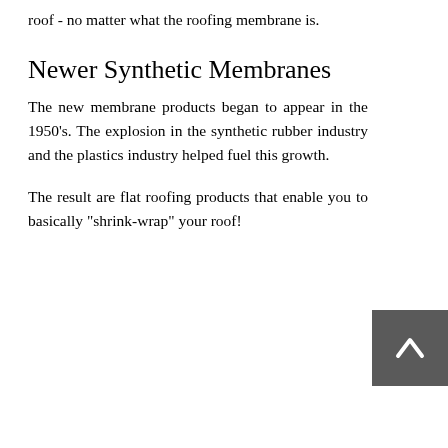roof - no matter what the roofing membrane is.
Newer Synthetic Membranes
The new membrane products began to appear in the 1950's. The explosion in the synthetic rubber industry and the plastics industry helped fuel this growth.
The result are flat roofing products that enable you to basically "shrink-wrap" your roof!
[Figure (other): Back to top navigation button with upward-pointing chevron arrow on dark grey background]